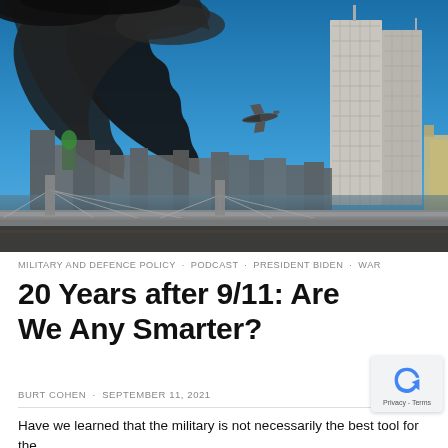[Figure (photo): Photograph of the Twin Towers on September 11, 2001, with large black smoke plumes rising from one tower, an airplane visible in the sky approaching the second tower, set against the New York City skyline with a bridge in the foreground.]
MILITARY AND DEFENCE POLICY · PODCAST · PRESIDENT BIDEN · WAR
20 Years after 9/11: Are We Any Smarter?
BURT COHEN · SEPTEMBER 11, 2021
Have we learned that the military is not necessarily the best tool for the